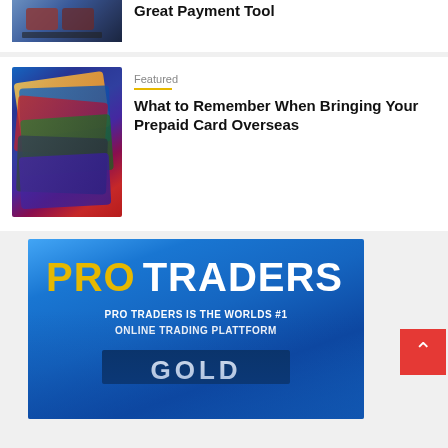[Figure (photo): Credit card terminal or payment device close-up, top partial article thumbnail]
Great Payment Tool
[Figure (photo): Stack of various credit and prepaid cards fanned out]
Featured
What to Remember When Bringing Your Prepaid Card Overseas
[Figure (infographic): PRO TRADERS advertisement banner — blue gradient background with text PRO TRADERS IS THE WORLDS #1 ONLINE TRADING PLATTFORM and partially visible GOLD text below]
[Figure (other): Red scroll-to-top arrow button]